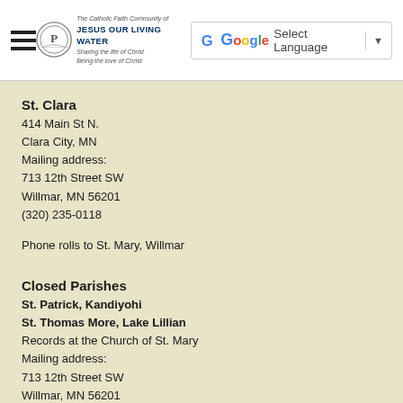[Figure (logo): Jesus Our Living Water parish logo with circular emblem and text]
Select Language
St. Clara
414 Main St N.
Clara City, MN
Mailing address:
713 12th Street SW
Willmar, MN 56201
(320) 235-0118
Phone rolls to St. Mary, Willmar
Closed Parishes
St. Patrick, Kandiyohi
St. Thomas More, Lake Lillian
Records at the Church of St. Mary
Mailing address:
713 12th Street SW
Willmar, MN 56201
(320) 235-0118